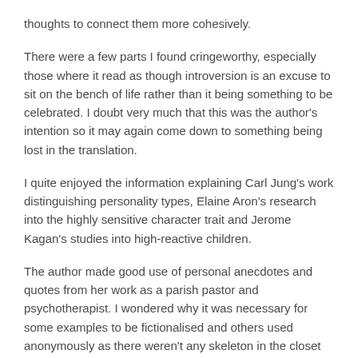thoughts to connect them more cohesively.
There were a few parts I found cringeworthy, especially those where it read as though introversion is an excuse to sit on the bench of life rather than it being something to be celebrated. I doubt very much that this was the author's intention so it may again come down to something being lost in the translation.
I quite enjoyed the information explaining Carl Jung's work distinguishing personality types, Elaine Aron's research into the highly sensitive character trait and Jerome Kagan's studies into high-reactive children.
The author made good use of personal anecdotes and quotes from her work as a parish pastor and psychotherapist. I wondered why it was necessary for some examples to be fictionalised and others used anonymously as there weren't any skeleton in the closet revelations.